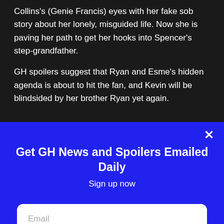Collins's (Genie Francis) eyes with her fake sob story about her lonely, misguided life. Now she is paving her path to get her hooks into Spencer's step-grandfather.
GH spoilers suggest that Ryan and Esme's hidden agenda is about to hit the fan, and Kevin will be blindsided by her brother Ryan yet again.
Get GH News and Spoilers Emailed Daily
Sign up now